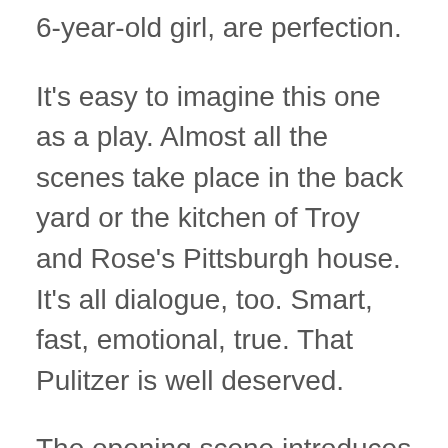6-year-old girl, are perfection.
It's easy to imagine this one as a play. Almost all the scenes take place in the back yard or the kitchen of Troy and Rose's Pittsburgh house. It's all dialogue, too. Smart, fast, emotional, true. That Pulitzer is well deserved.
The opening scene introduces us to the main character, a garbageman, who banters with his partner and complains about the policy that only lets white employees work as drivers. We gradually